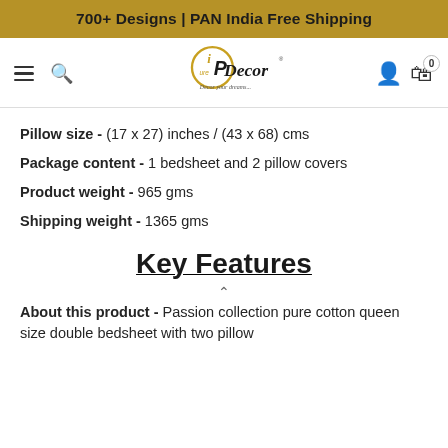700+ Designs | PAN India Free Shipping
[Figure (logo): iPureDecor logo with golden circular emblem and tagline 'Decor your dreams...']
Pillow size - (17 x 27) inches / (43 x 68) cms
Package content - 1 bedsheet and 2 pillow covers
Product weight - 965 gms
Shipping weight - 1365 gms
Key Features
About this product - Passion collection pure cotton queen size double bedsheet with two pillow